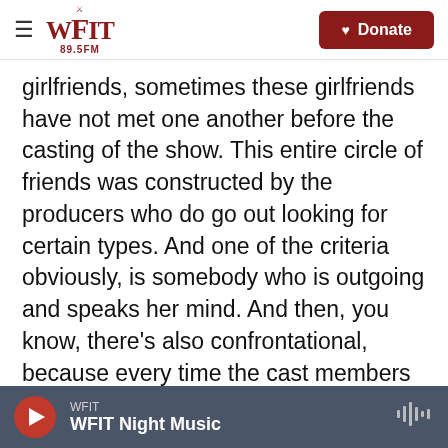WFIT 89.5FM — Donate
girlfriends, sometimes these girlfriends have not met one another before the casting of the show. This entire circle of friends was constructed by the producers who do go out looking for certain types. And one of the criteria obviously, is somebody who is outgoing and speaks her mind. And then, you know, there's also confrontational, because every time the cast members get into a fight they get more Twitter followers, people telling them that they love them or hate them. And they just get more press and their on blogs, and suddenly they become celebrities in their own right. So, you know, they look for that and then it's rewarded and then
WFIT — WFIT Night Music